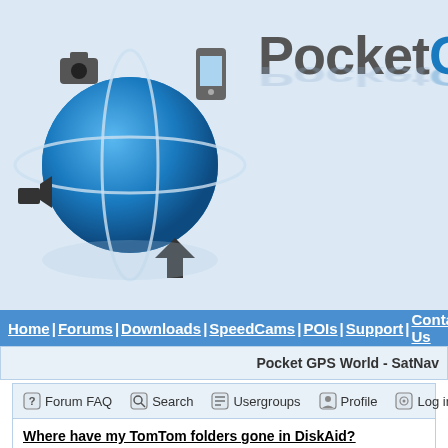[Figure (logo): PocketGPS World logo with blue globe and satellite/devices, site name 'PocketGPSW' in large gray/blue text]
Home | Forums | Downloads | SpeedCams | POIs | Support | Contact Us
Pocket GPS World - SatNav
Forum FAQ  Search  Usergroups  Profile  Log in for private
Where have my TomTom folders gone in DiskAid?
new topic  post reply  Pocket GPS World Forum Index -> Apple G
| Author |  |
| --- | --- |